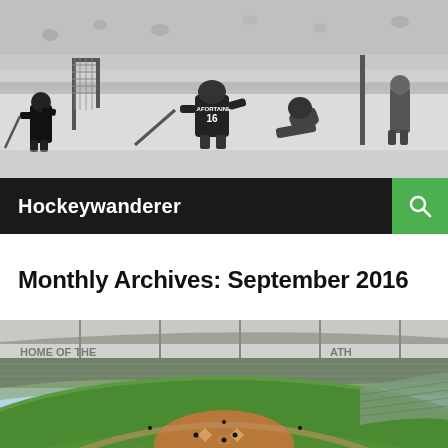[Figure (photo): Black and white hockey game photo showing player #16 LAFONTAINE on the ice near the net with other players around]
Hockeywanderer
Monthly Archives: September 2016
[Figure (photo): Color aerial photo of a baseball stadium (Oakland Coliseum / Athletics) filled with fans, showing the green field and upper deck signage reading 'THE ATH']